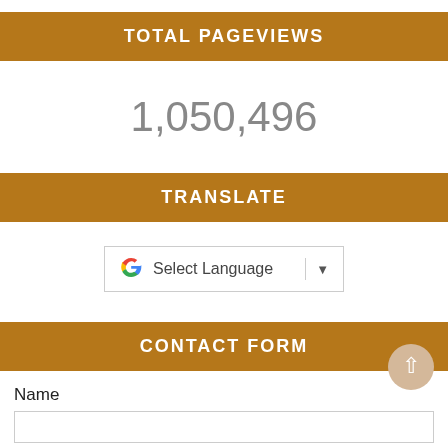TOTAL PAGEVIEWS
1,050,496
TRANSLATE
[Figure (screenshot): Google Translate widget showing 'Select Language' dropdown with Google 'G' logo]
CONTACT FORM
Name